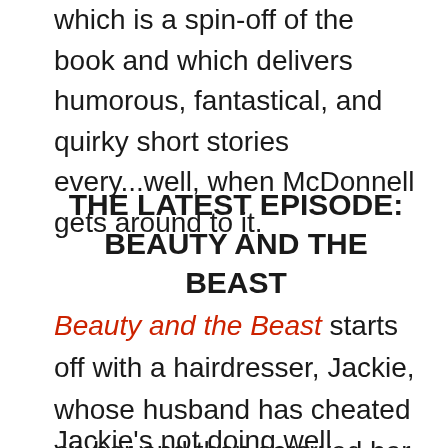which is a spin-off of the book and which delivers humorous, fantastical, and quirky short stories every...well, when McDonnell gets around to it.
THE LATEST EPISODE: BEAUTY AND THE BEAST
Beauty and the Beast starts off with a hairdresser, Jackie, whose husband has cheated on her and then screwed her out of her mobile hairdressing business.
Jackie's not doing well financially or